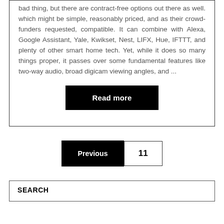bad thing, but there are contract-free options out there as well. which might be simple, reasonably priced, and as their crowd-funders requested, compatible. It can combine with Alexa, Google Assistant, Yale, Kwikset, Nest, LIFX, Hue, IFTTT, and plenty of other smart home tech. Yet, while it does so many things proper, it passes over some fundamental features like two-way audio, broad digicam viewing angles, and ...
Read more
Previous
11
SEARCH